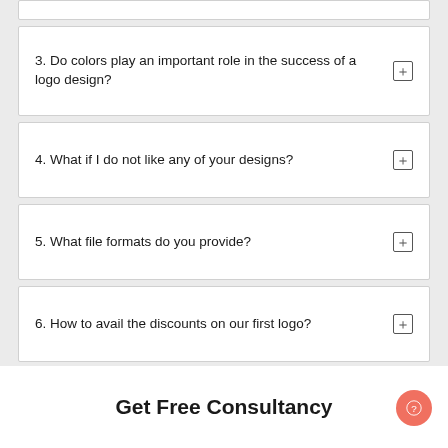3. Do colors play an important role in the success of a logo design?
4. What if I do not like any of your designs?
5. What file formats do you provide?
6. How to avail the discounts on our first logo?
Get Free Consultancy